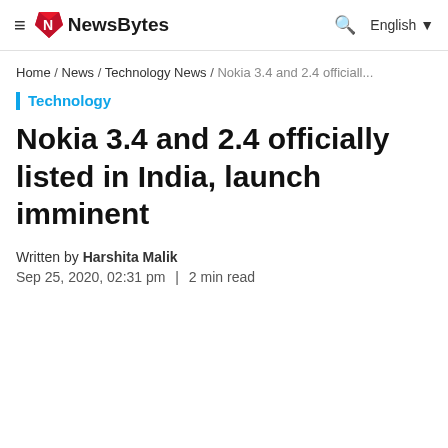NewsBytes | Home / News / Technology News / Nokia 3.4 and 2.4 officiall...
Home / News / Technology News / Nokia 3.4 and 2.4 officiall...
Technology
Nokia 3.4 and 2.4 officially listed in India, launch imminent
Written by Harshita Malik
Sep 25, 2020, 02:31 pm | 2 min read